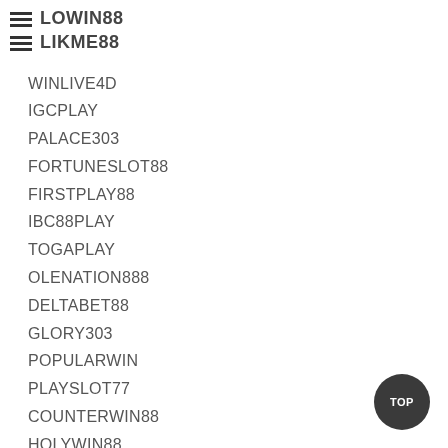LOWIN88
LIKME88
WINLIVE4D
IGCPLAY
PALACE303
FORTUNESLOT88
FIRSTPLAY88
IBC88PLAY
TOGAPLAY
OLENATION888
DELTABET88
GLORY303
POPULARWIN
PLAYSLOT77
COUNTERWIN88
HOLYWIN88
MUTUBET88
MIDAS88
SUPERWIN888